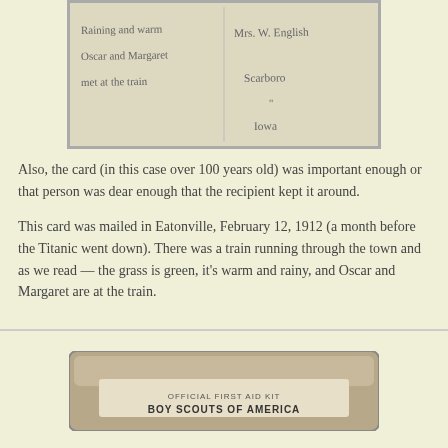[Figure (photo): Old handwritten postcard showing cursive text on left side reading 'Raining and warm Oscar and Margaret met at the train' and address on right side reading 'Mrs. W. English, Scarboro, Iowa']
Also, the card (in this case over 100 years old) was important enough or that person was dear enough that the recipient kept it around.
This card was mailed in Eatonville, February 12, 1912 (a month before the Titanic went down). There was a train running through the town and as we read — the grass is green, it's warm and rainy, and Oscar and Margaret are at the train.
[Figure (photo): Metal tin box labeled 'OFFICIAL FIRST AID KIT BOY SCOUTS OF AMERICA']